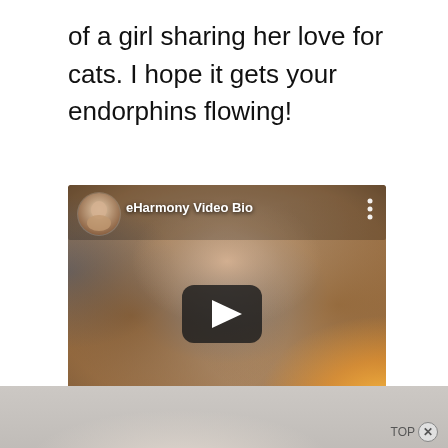of a girl sharing her love for cats. I hope it gets your endorphins flowing!
[Figure (screenshot): Embedded YouTube-style video player showing a woman with long light-brown hair speaking to camera. The video overlay shows a circular avatar of the same woman in the top-left corner, the channel label 'eHarmony Video Bio' beside it, a three-dot menu icon in the top-right, and a play button in the center of the video.]